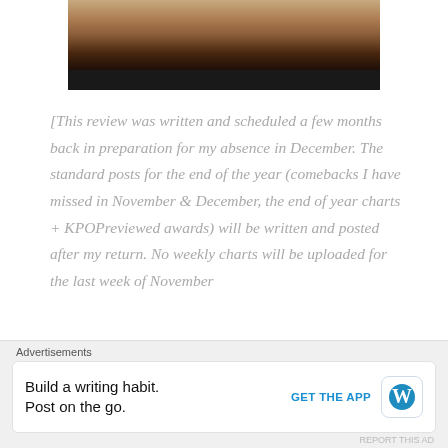[Figure (photo): Partial face/hair photo of a person against dark background, with black bar at bottom]
[This review was written and scheduled a few months back in preparation for my absence in December. The standard posts for the end of the year (comebacks I have missed in November & December, the end of year charts + KPOPreviewed awards) will be written and posted after my return. No weekly charts will be uploaded for the last week of November
Advertisements
Build a writing habit. Post on the go.
GET THE APP